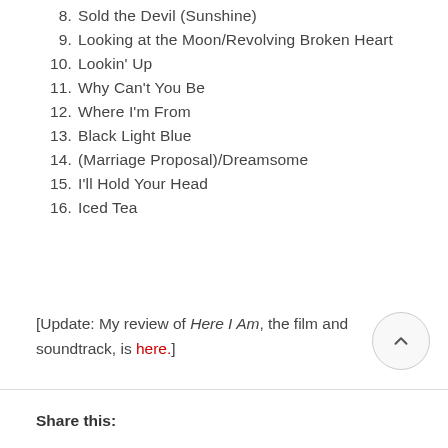8. Sold the Devil (Sunshine)
9. Looking at the Moon/Revolving Broken Heart
10. Lookin' Up
11. Why Can't You Be
12. Where I'm From
13. Black Light Blue
14. (Marriage Proposal)/Dreamsome
15. I'll Hold Your Head
16. Iced Tea
[Update: My review of Here I Am, the film and soundtrack, is here.]
Share this: